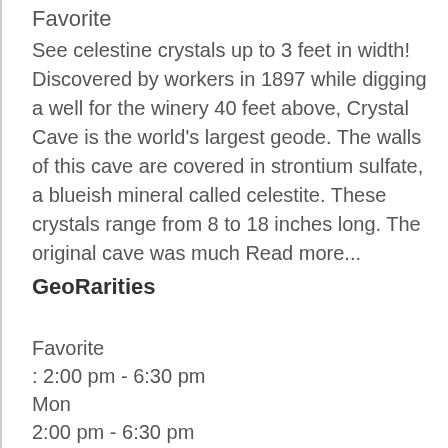Favorite
See celestine crystals up to 3 feet in width! Discovered by workers in 1897 while digging a well for the winery 40 feet above, Crystal Cave is the world's largest geode. The walls of this cave are covered in strontium sulfate, a blueish mineral called celestite. These crystals range from 8 to 18 inches long. The original cave was much Read more...
GeoRarities
Favorite
: 2:00 pm - 6:30 pm
Mon
2:00 pm - 6:30 pm
Tue
2:00 pm - 6:30 pm
Wed
2:00 pm - 6:30 pm
Thu